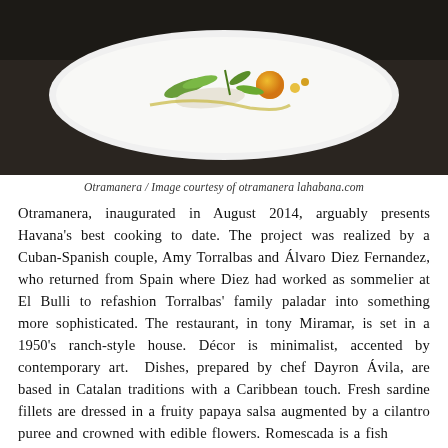[Figure (photo): A white rectangular plate with an artistic food presentation featuring colorful vegetables, edible flowers, and garnishes on a dark background — a dish from Otramanera restaurant in Havana.]
Otramanera / Image courtesy of otramanera lahabana.com
Otramanera, inaugurated in August 2014, arguably presents Havana's best cooking to date. The project was realized by a Cuban-Spanish couple, Amy Torralbas and Álvaro Diez Fernandez, who returned from Spain where Diez had worked as sommelier at El Bulli to refashion Torralbas' family paladar into something more sophisticated. The restaurant, in tony Miramar, is set in a 1950's ranch-style house. Décor is minimalist, accented by contemporary art. Dishes, prepared by chef Dayron Ávila, are based in Catalan traditions with a Caribbean touch. Fresh sardine fillets are dressed in a fruity papaya salsa augmented by a cilantro puree and crowned with edible flowers. Romescada is a fish